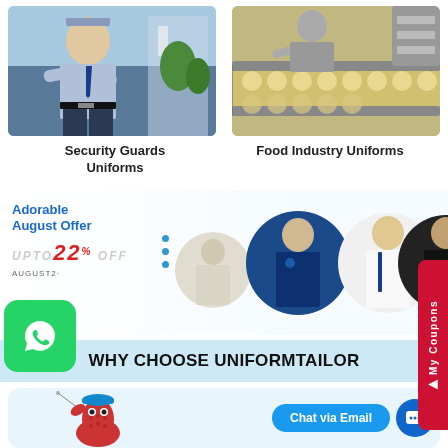[Figure (photo): Security guard in uniform standing with arms crossed outdoors]
Security Guards Uniforms
[Figure (photo): Food industry worker at production line with food items on conveyor belt]
Food Industry Uniforms
[Figure (infographic): Adorable August Offer promo banner: UP TO 22% OFF, code AUGUST2, with three circular product images showing uniforms]
[Figure (logo): WhatsApp green button icon]
WHY CHOOSE UNIFORMTAILOR
[Figure (illustration): Thimble mascot cartoon with needle, and Chat via Email button in blue bubble]
My Coupons